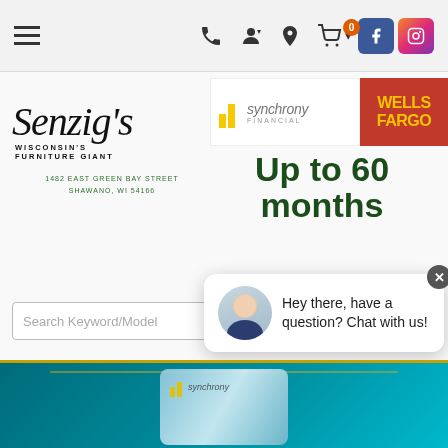[Figure (screenshot): Website navigation bar with hamburger menu, phone, user, location, cart (0), and social media icons (Facebook, Instagram)]
[Figure (logo): Synchrony Financial logo with yellow bar chart icon]
[Figure (logo): Wells Fargo logo in red box with yellow text]
[Figure (logo): Senzig's Wisconsin's Furniture Giant logo with address 1482 East Green Bay Street Shawano, WI 54166]
Up to 60 months
Interest Free Low Monthly Payments*
Search Keyword/Model
Hey there, have a question? Chat with us!
[Figure (screenshot): Bottom teal banner with Synchrony card image and synchrony financial logo]